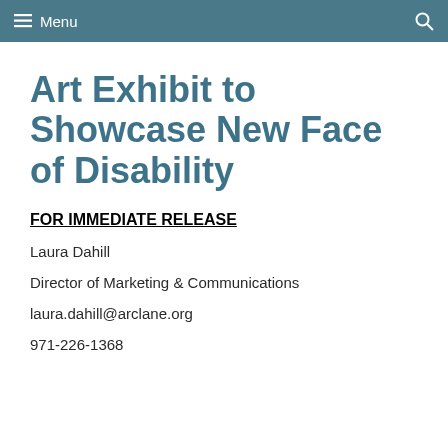Menu
Art Exhibit to Showcase New Face of Disability
FOR IMMEDIATE RELEASE
Laura Dahill
Director of Marketing & Communications
laura.dahill@arclane.org
971-226-1368